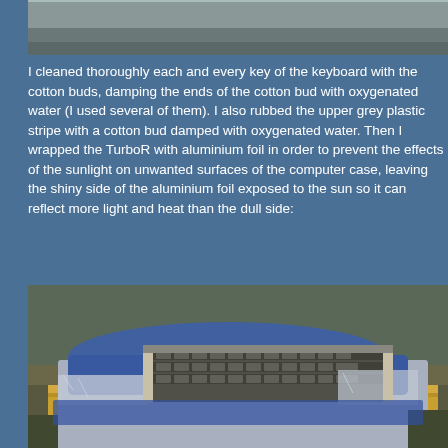[Figure (photo): Top portion of a photo showing a keyboard or computer case, partially visible at the top of the page]
I cleaned thoroughly each and every key of the keyboard with the cotton buds, damping the ends of the cotton bud with oxygenated water (I used several of them). I also rubbed the upper grey plastic stripe with a cotton bud damped with oxygenated water. Then I wrapped the TurboR with aluminium foil in order to prevent the effects of the sunlight on unwanted surfaces of the computer case, leaving the shiny side of the aluminium foil exposed to the sun so it can reflect more light and heat than the dull side:
[Figure (photo): Photo of a TurboR computer/keyboard wrapped in aluminium foil and blue material, placed on a wooden surface outdoors with dry grass/ground in the background]